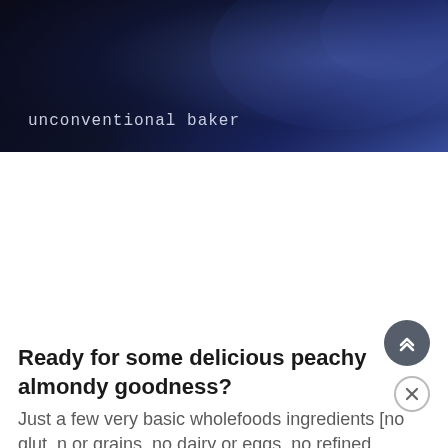[Figure (photo): Dark navy/midnight blue banner photo with blueish-purple haze in the upper right, with the text 'unconventional baker' in light monospace font at the lower left.]
Ready for some delicious peachy almondy goodness? Just a few very basic wholefoods ingredients [no gluten or grains, no dairy or eggs, no refined sugars... not even flour!], and a few no-fuss steps and you can enjoy deli...